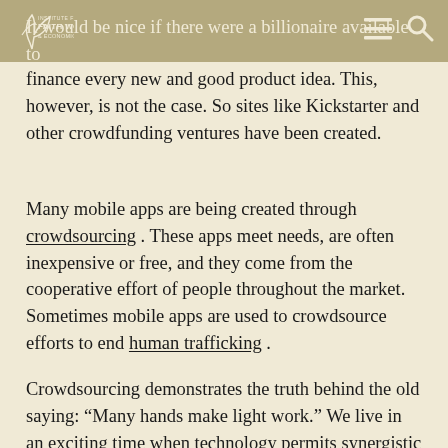INSTITUTE FOR FAITH WORK & ECONOMICS
It would be nice if there were a billionaire available to finance every new and good product idea. This, however, is not the case. So sites like Kickstarter and other crowdfunding ventures have been created.
Many mobile apps are being created through crowdsourcing. These apps meet needs, are often inexpensive or free, and they come from the cooperative effort of people throughout the market. Sometimes mobile apps are used to crowdsource efforts to end human trafficking.
Crowdsourcing demonstrates the truth behind the old saying: “Many hands make light work.” We live in an exciting time when technology permits synergistic